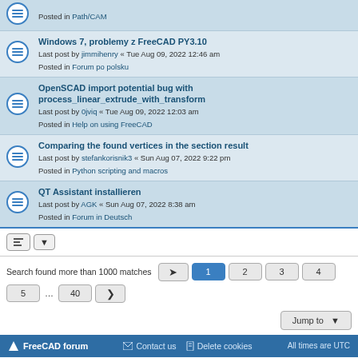Windows 7, problemy z FreeCAD PY3.10 — Last post by jimmihenry « Tue Aug 09, 2022 12:46 am — Posted in Forum po polsku
OpenSCAD import potential bug with process_linear_extrude_with_transform — Last post by 0jviq « Tue Aug 09, 2022 12:03 am — Posted in Help on using FreeCAD
Comparing the found vertices in the section result — Last post by stefankorisnik3 « Sun Aug 07, 2022 9:22 pm — Posted in Python scripting and macros
QT Assistant installieren — Last post by AGK « Sun Aug 07, 2022 8:38 am — Posted in Forum in Deutsch
Search found more than 1000 matches
FreeCAD forum | Contact us | Delete cookies | All times are UTC
Powered by phpBB® Forum Software © phpBB Limited | Privacy | Terms